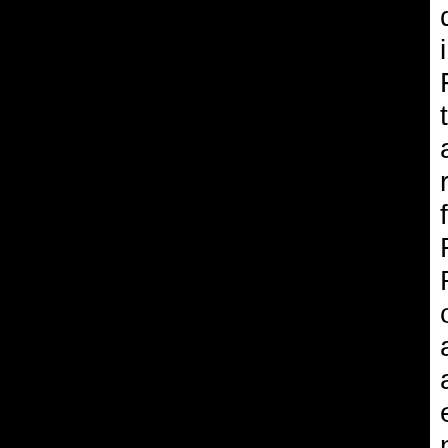damination back in January, in Florence, at the tail-end of RS's and AK's appeal, ranting on foolishly about Perugia and Rome justice officials, in an apparent attempt to outdo even the nastiness of Amanda Knox's earlier email to Judge Nencini which also ranted on